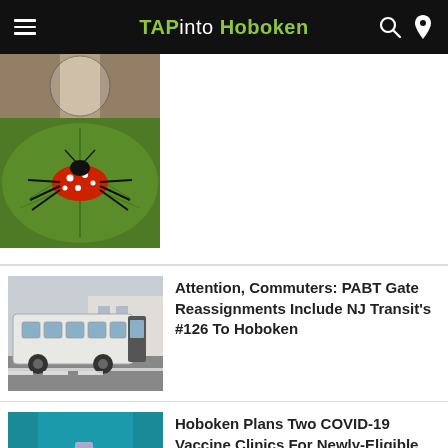TAPinto Hoboken
[Figure (photo): Top article thumbnail: circular cat photo above a spotted lanternfly nymph on a leaf]
[Figure (photo): NJ Transit bus on a street]
Attention, Commuters: PABT Gate Reassignments Include NJ Transit's #126 To Hoboken
[Figure (photo): Person in teal scrubs holding a vaccine vial]
Hoboken Plans Two COVID-19 Vaccine Clinics For Newly-Eligible Kids